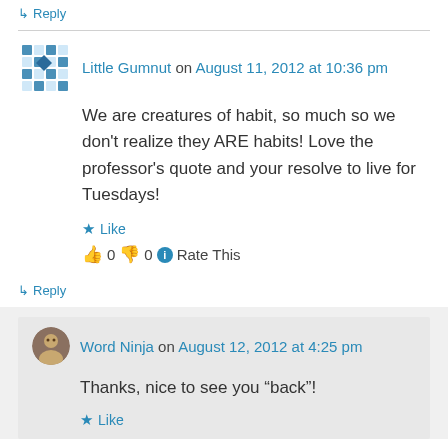↳ Reply
Little Gumnut on August 11, 2012 at 10:36 pm
We are creatures of habit, so much so we don't realize they ARE habits! Love the professor's quote and your resolve to live for Tuesdays!
★ Like
👍 0 👎 0 ℹ Rate This
↳ Reply
Word Ninja on August 12, 2012 at 4:25 pm
Thanks, nice to see you “back”!
★ Like